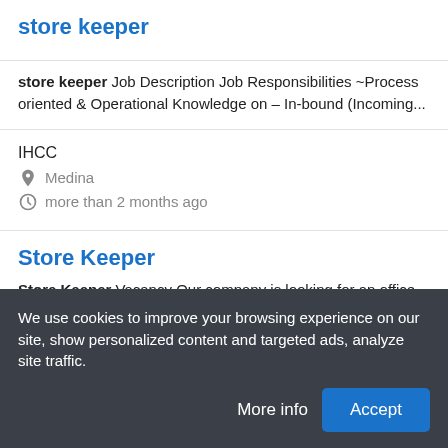store keeper
store keeper Job Description Job Responsibilities ~Process oriented & Operational Knowledge on – In-bound (Incoming...
IHCC
Medina
more than 2 months ago
Store Keeper
Store Keeper Vacancy Our company is looking for an office assistant to be responsible for handling clerical tasks in our...
We use cookies to improve your browsing experience on our site, show personalized content and targeted ads, analyze site traffic.
More info
Accept